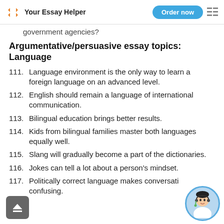Your Essay Helper | Order now
government agencies?
Argumentative/persuasive essay topics: Language
111. Language environment is the only way to learn a foreign language on an advanced level.
112. English should remain a language of international communication.
113. Bilingual education brings better results.
114. Kids from bilingual families master both languages equally well.
115. Slang will gradually become a part of the dictionaries.
116. Jokes can tell a lot about a person's mindset.
117. Politically correct language makes conversation confusing.